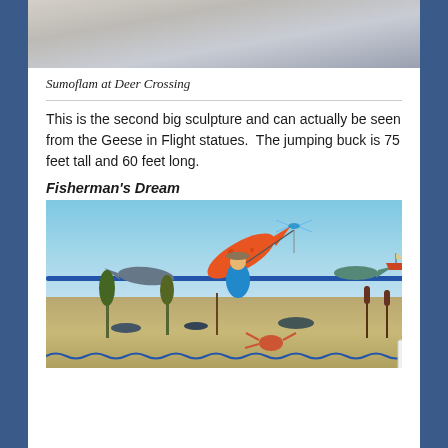[Figure (photo): Top portion of a photo showing a light blue/white fabric or cloth background, partial view of a sculpture at Deer Crossing]
Sumoflam at Deer Crossing
This is the second big sculpture and can actually be seen from the Geese in Flight statues.  The jumping buck is 75 feet tall and 60 feet long.
Fisherman’s Dream
[Figure (photo): Photo of the Fisherman's Dream sculpture showing large metal fish, a fisherman figure with a hat, dragonfly, and various aquatic plant sculptures against a blue sky and flat prairie landscape]